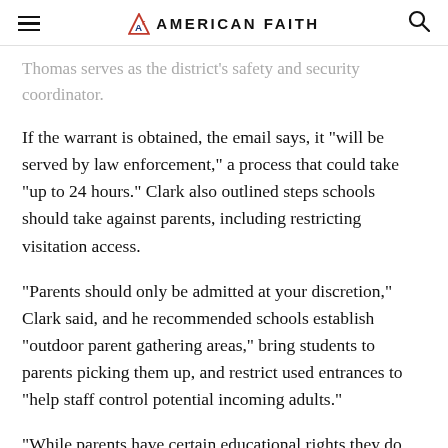AMERICAN FAITH
Thomas serves as the district's safety and security coordinator.
If the warrant is obtained, the email says, it "will be served by law enforcement," a process that could take "up to 24 hours." Clark also outlined steps schools should take against parents, including restricting visitation access.
"Parents should only be admitted at your discretion," Clark said, and he recommended schools establish "outdoor parent gathering areas," bring students to parents picking them up, and restrict used entrances to "help staff control potential incoming adults."
"While parents have certain educational rights they do NOT have the right to enter your school without proper